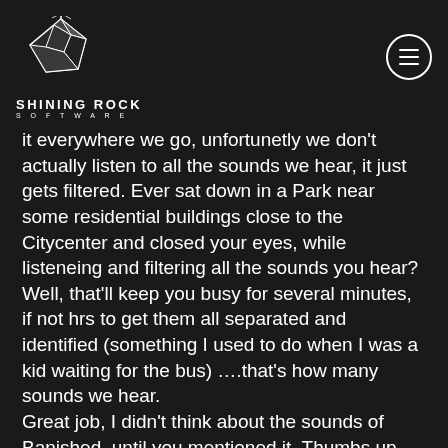[Figure (logo): Shining Rock Software logo with geometric rock/crystal icon and text 'SHINING ROCK SOFTWARE']
it everywhere we go, unfortunetly we don't actually listen to all the sounds we hear, it just gets filtered. Ever sat down in a Park near some residential buildings close to the Citycenter and closed your eyes, while listeneing and filtering all the sounds you hear? Well, that'll keep you busy for several minutes, if not hrs to get them all separated and identified (something I used to do when I was a kid waiting for the bus) ….that's how many sounds we hear.
Great job, I didn't think about the sounds of Banished, until you mentioned it. Thumbs up.
Fred